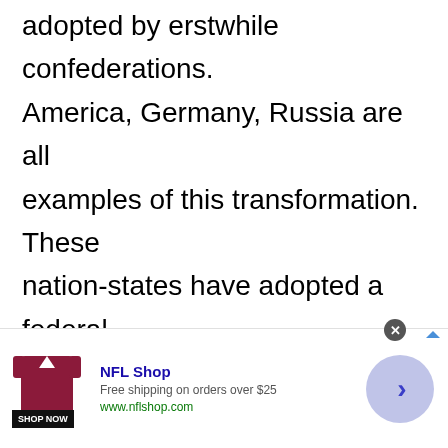adopted by erstwhile confederations. America, Germany, Russia are all examples of this transformation. These nation-states have adopted a federal political structure marking an end to their confederation statuses. Several populous countries in the world have adopted the federal form of government.
[Figure (other): Advertisement banner for NFL Shop showing a maroon jersey/shirt graphic, 'NFL Shop' title in blue, 'Free shipping on orders over $25', 'www.nflshop.com', a 'SHOP NOW' button, and a circular arrow button on the right.]